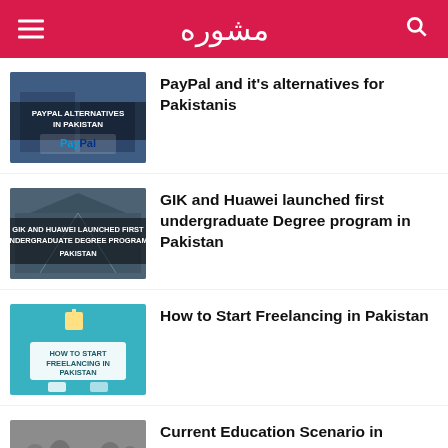مشوره
PayPal and it's alternatives for Pakistanis
GIK and Huawei launched first undergraduate Degree program in Pakistan
How to Start Freelancing in Pakistan
Current Education Scenario in